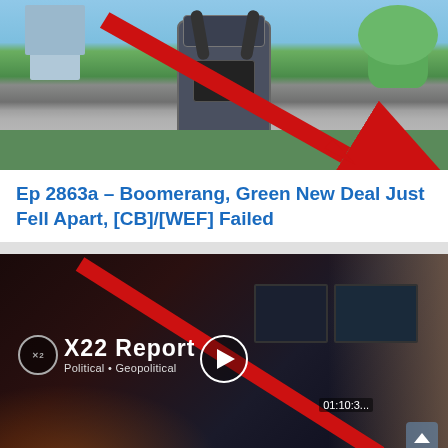[Figure (screenshot): EV charging station photo with a large red diagonal downward arrow overlaid on the image]
Ep 2863a – Boomerang, Green New Deal Just Fell Apart, [CB]/[WEF] Failed
👁 16627 views
[Figure (screenshot): X22 Report video thumbnail showing a man at a desk with monitors displaying 'X22 Report – Political • Geopolitical' with a red diagonal line and a play button overlay]